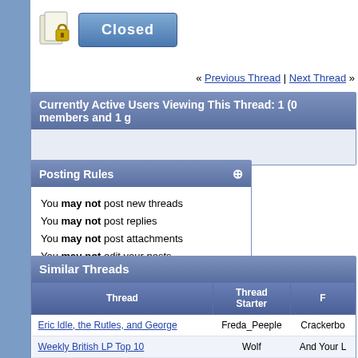[Figure (screenshot): Closed thread button with lock icon and blue 'Closed' label]
« Previous Thread | Next Thread »
Currently Active Users Viewing This Thread: 1 (0 members and 1 g
Posting Rules
You may not post new threads
You may not post replies
You may not post attachments
You may not edit your posts
vB code is On
Smilies are On
[IMG] code is On
HTML code is Off
Similar Threads
| Thread | Thread Starter | F |
| --- | --- | --- |
| Eric Idle, the Rutles, and George | Freda_Peeple | Crackerbo |
| Weekly British LP Top 10 | Wolf | And Your L |
| "It Don't Come Easy" & "Let It Rain" | 62hofner | Crackerbo |
| Concerts and Exhibition for George in Liverpool | FRSUOT | Crackerbo |